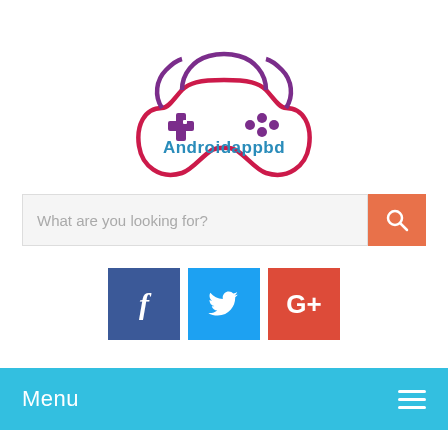[Figure (logo): Game controller logo with 'Androidappbd' text in teal/blue. Controller outline in magenta/purple with d-pad and buttons.]
What are you looking for?
[Figure (infographic): Social media buttons: Facebook (blue, f), Twitter (light blue, bird), Google+ (orange-red, G+)]
Menu
Adventure, Android Paid Games